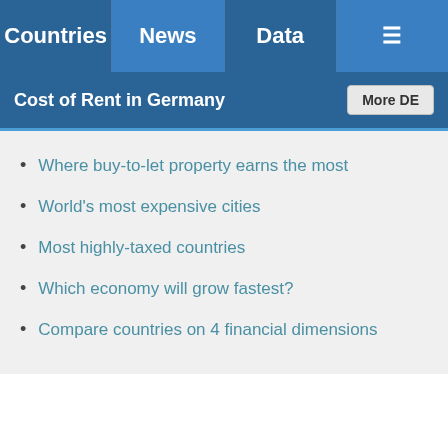Countries | News | Data | Menu
Cost of Rent in Germany
Where buy-to-let property earns the most
World's most expensive cities
Most highly-taxed countries
Which economy will grow fastest?
Compare countries on 4 financial dimensions